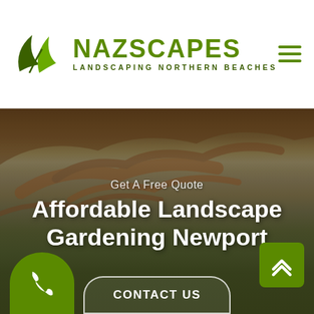[Figure (logo): Nazscapes logo with two green leaves and text NAZSCAPES LANDSCAPING NORTHERN BEACHES]
[Figure (photo): Outdoor scene showing a house with large tree branches, green hedges, and garden in the foreground, overlaid with dark tint]
Get A Free Quote
Affordable Landscape Gardening Newport
[Figure (illustration): Green phone icon button at bottom left]
[Figure (illustration): Green up-arrow button at bottom right]
CONTACT US